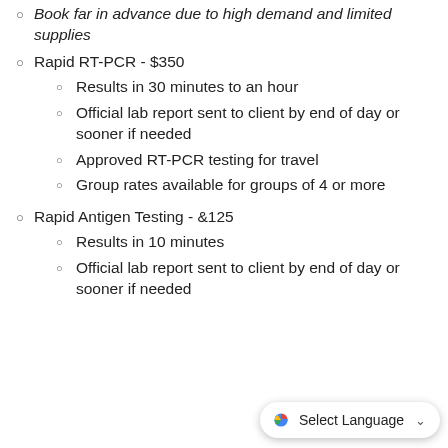Book far in advance due to high demand and limited supplies
Rapid RT-PCR - $350
Results in 30 minutes to an hour
Official lab report sent to client by end of day or sooner if needed
Approved RT-PCR testing for travel
Group rates available for groups of 4 or more
Rapid Antigen Testing - &125
Results in 10 minutes
Official lab report sent to client by end of day or sooner if needed